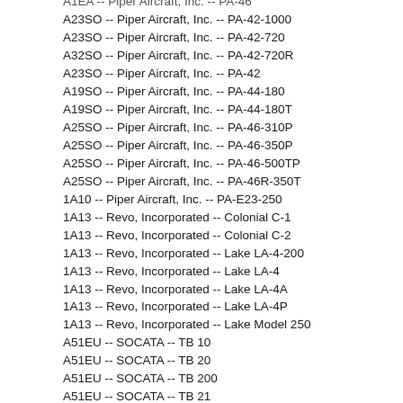A1EA -- Piper Aircraft, Inc. -- PA-46
A23SO -- Piper Aircraft, Inc. -- PA-42-1000
A23SO -- Piper Aircraft, Inc. -- PA-42-720
A32SO -- Piper Aircraft, Inc. -- PA-42-720R
A23SO -- Piper Aircraft, Inc. -- PA-42
A19SO -- Piper Aircraft, Inc. -- PA-44-180
A19SO -- Piper Aircraft, Inc. -- PA-44-180T
A25SO -- Piper Aircraft, Inc. -- PA-46-310P
A25SO -- Piper Aircraft, Inc. -- PA-46-350P
A25SO -- Piper Aircraft, Inc. -- PA-46-500TP
A25SO -- Piper Aircraft, Inc. -- PA-46R-350T
1A10 -- Piper Aircraft, Inc. -- PA-E23-250
1A13 -- Revo, Incorporated -- Colonial C-1
1A13 -- Revo, Incorporated -- Colonial C-2
1A13 -- Revo, Incorporated -- Lake LA-4-200
1A13 -- Revo, Incorporated -- Lake LA-4
1A13 -- Revo, Incorporated -- Lake LA-4A
1A13 -- Revo, Incorporated -- Lake LA-4P
1A13 -- Revo, Incorporated -- Lake Model 250
A51EU -- SOCATA -- TB 10
A51EU -- SOCATA -- TB 20
A51EU -- SOCATA -- TB 200
A51EU -- SOCATA -- TB 21
A51EU -- SOCATA -- TB9
A60EU -- SOCATA -- TBM 700
A00000DE -- Triton Aerospace LLC -- A500